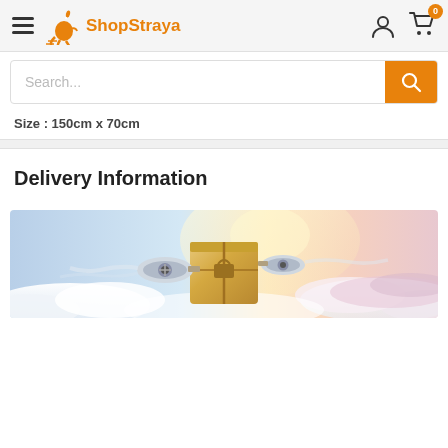ShopStraya
Search...
Size : 150cm x 70cm
Delivery Information
[Figure (illustration): A cardboard box with airplane jet engines attached to its sides, flying above clouds in a bright sky — a delivery/shipping themed banner image.]